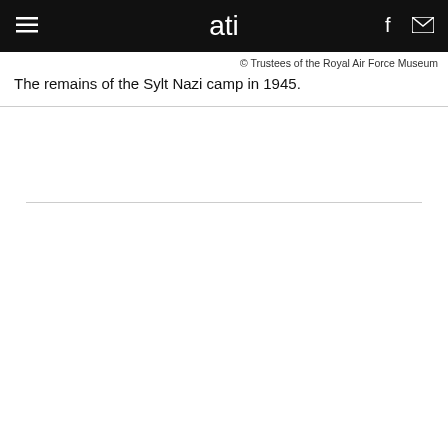ati
© Trustees of the Royal Air Force Museum
The remains of the Sylt Nazi camp in 1945.